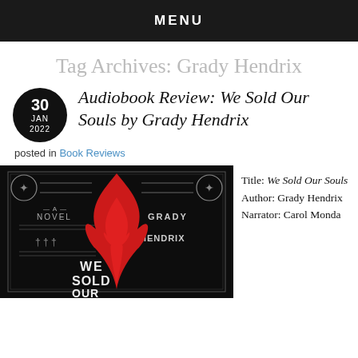MENU
Tag Archives: Grady Hendrix
Audiobook Review: We Sold Our Souls by Grady Hendrix
posted in Book Reviews
[Figure (photo): Book cover of We Sold Our Souls by Grady Hendrix — black background with red flame and text 'A Novel', 'Grady Hendrix', 'We Sold Our Souls']
Title: We Sold Our Souls
Author: Grady Hendrix
Narrator: Carol Monda